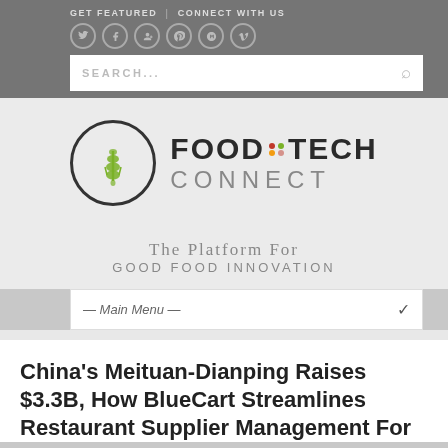GET FEATURED | CONNECT WITH US
[Figure (screenshot): Food Tech Connect website header with logo, search bar, navigation menu, and article title]
China's Meituan-Dianping Raises $3.3B, How BlueCart Streamlines Restaurant Supplier Management For